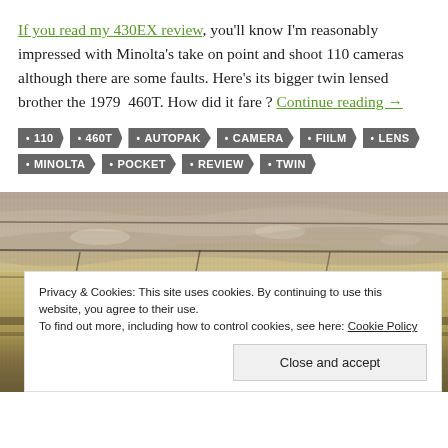If you read my 430EX review, you'll know I'm reasonably impressed with Minolta's take on point and shoot 110 cameras although there are some faults. Here's its bigger twin lensed brother the 1979 460T. How did it fare? Continue reading →
• 110  • 460T  • AUTOPAK  • CAMERA  • FIILM  • LENS  • MINOLTA  • POCKET  • REVIEW  • TWIN
[Figure (photo): Close-up macro photograph of a textured stone or brick surface with sandy/golden tones and dark mortar lines]
Privacy & Cookies: This site uses cookies. By continuing to use this website, you agree to their use.
To find out more, including how to control cookies, see here: Cookie Policy
Close and accept